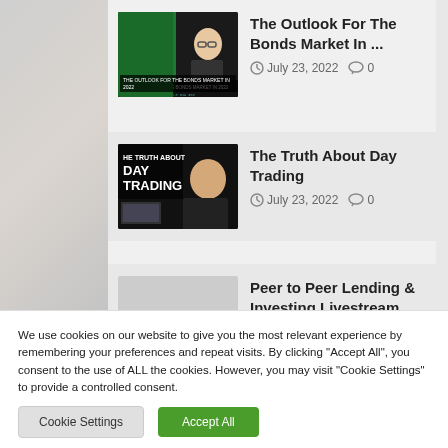[Figure (screenshot): Thumbnail of two people on screen (bonds market video)]
The Outlook For The Bonds Market In ...
July 23, 2022  0
[Figure (screenshot): Thumbnail of day trading video with text overlay]
The Truth About Day Trading
July 23, 2022  0
Peer to Peer Lending & Investing Livestream ...
July 22, 2022  0
We use cookies on our website to give you the most relevant experience by remembering your preferences and repeat visits. By clicking "Accept All", you consent to the use of ALL the cookies. However, you may visit "Cookie Settings" to provide a controlled consent.